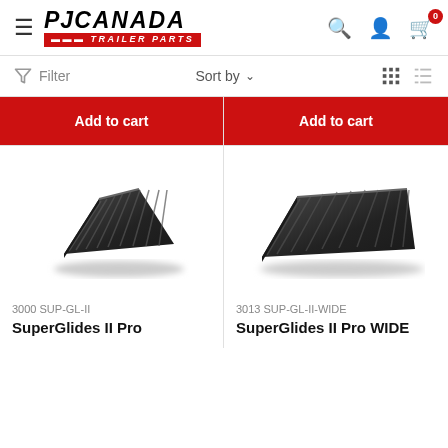PJ CANADA TRAILER PARTS
Filter  Sort by
Add to cart
Add to cart
[Figure (photo): SuperGlides II Pro ramp mat product image - narrow black rubber ramp viewed from an angle]
[Figure (photo): SuperGlides II Pro WIDE ramp mat product image - wider black rubber ramp viewed from an angle]
3000 SUP-GL-II
SuperGlides II Pro
3013 SUP-GL-II-WIDE
SuperGlides II Pro WIDE